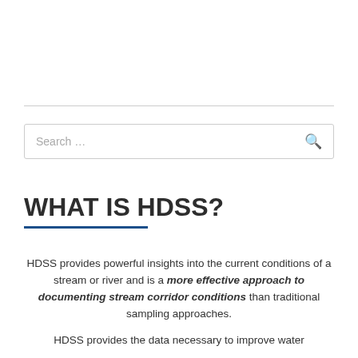[Figure (other): Search bar with placeholder text 'Search ...' and a search icon on the right]
WHAT IS HDSS?
HDSS provides powerful insights into the current conditions of a stream or river and is a more effective approach to documenting stream corridor conditions than traditional sampling approaches.
HDSS provides the data necessary to improve water